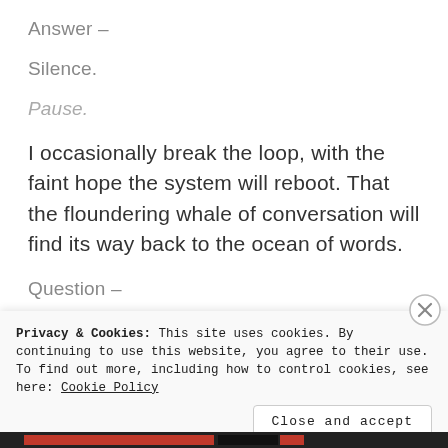Answer –
Silence.
Pause.
I occasionally break the loop, with the faint hope the system will reboot. That the floundering whale of conversation will find its way back to the ocean of words.
Question –
Privacy & Cookies: This site uses cookies. By continuing to use this website, you agree to their use.
To find out more, including how to control cookies, see here: Cookie Policy
Close and accept